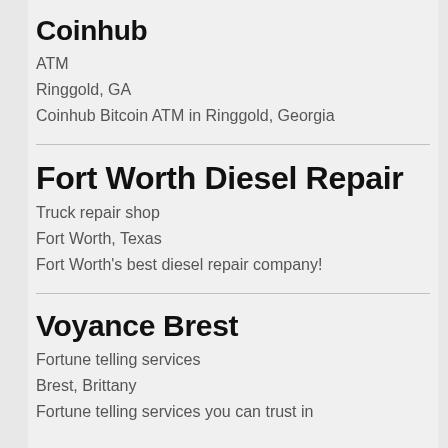Coinhub
ATM
Ringgold, GA
Coinhub Bitcoin ATM in Ringgold, Georgia
Fort Worth Diesel Repair
Truck repair shop
Fort Worth, Texas
Fort Worth's best diesel repair company!
Voyance Brest
Fortune telling services
Brest, Brittany
Fortune telling services you can trust in